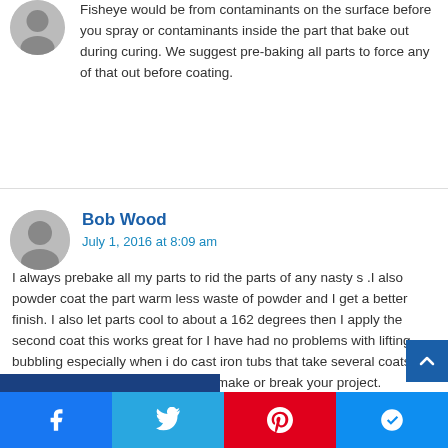Fisheye would be from contaminants on the surface before you spray or contaminants inside the part that bake out during curing. We suggest pre-baking all parts to force any of that out before coating.
Bob Wood
July 1, 2016 at 8:09 am
I always prebake all my parts to rid the parts of any nasty s .I also powder coat the part warm less waste of powder and I get a better finish. I also let parts cool to about a 162 degrees then I apply the second coat this works great for I have had no problems with lifting bubbling especially when i do cast iron tubs that take several coats. Most of all is your prep work it will make or break your project.